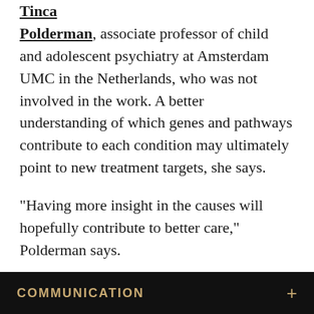"The study is very powerful," says Tinca Polderman, associate professor of child and adolescent psychiatry at Amsterdam UMC in the Netherlands, who was not involved in the work. A better understanding of which genes and pathways contribute to each condition may ultimately point to new treatment targets, she says.
"Having more insight in the causes will hopefully contribute to better care," Polderman says.
This article was originally published on Spectrum, a leading site for autism research news.
COMMUNICATION +